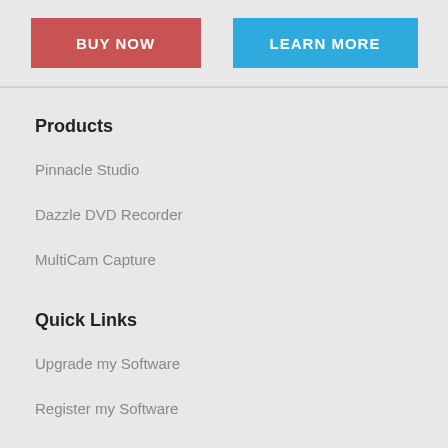[Figure (other): Two call-to-action buttons: BUY NOW (red) and LEARN MORE (blue)]
Products
Pinnacle Studio
Dazzle DVD Recorder
MultiCam Capture
Quick Links
Upgrade my Software
Register my Software